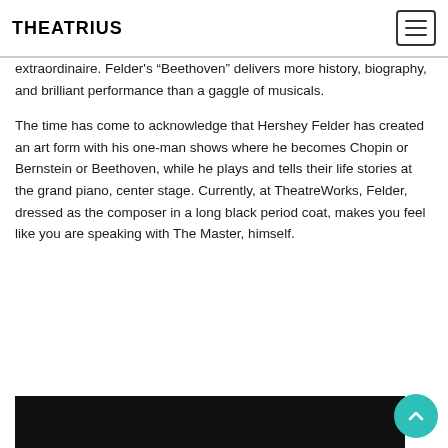THEATRIUS
extraordinaire. Felder's “Beethoven” delivers more history, biography, and brilliant performance than a gaggle of musicals.
The time has come to acknowledge that Hershey Felder has created an art form with his one-man shows where he becomes Chopin or Bernstein or Beethoven, while he plays and tells their life stories at the grand piano, center stage. Currently, at TheatreWorks, Felder, dressed as the composer in a long black period coat, makes you feel like you are speaking with The Master, himself.
[Figure (photo): Dark photograph, partial image visible at bottom of page]